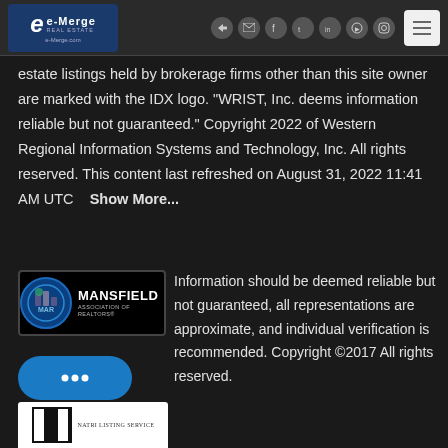[Figure (logo): e-Merge Real Estate logo with blue background, stylized 'e' and 'e-Merge' text, e-Merge.com URL]
[Figure (other): Navigation icons: login, email, Facebook, Twitter, LinkedIn, YouTube, Instagram, and hamburger menu button]
estate listings held by brokerage firms other than this site owner are marked with the IDX logo. "WRIST, Inc. deems information reliable but not guaranteed." Copyright 2022 of Western Regional Information Systems and Technology, Inc. All rights reserved. This content last refreshed on August 31, 2022 11:41 AM UTC    Show More...
[Figure (logo): Mansfield Association of Realtors (MAR) logo with circular blue badge and organization name]
Information should be deemed reliable but not guaranteed, all representations are approximate, and individual verification is recommended. Copyright ©2017 All rights reserved.
[Figure (other): Blue chat bubble widget with ellipsis dots]
[Figure (logo): Partially visible black and white logo at bottom with 'NATRI LISTING SERVICE' text]